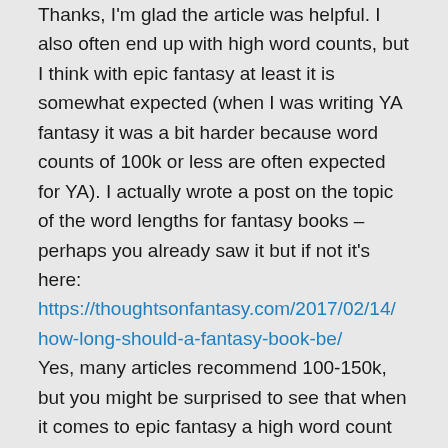Thanks, I'm glad the article was helpful. I also often end up with high word counts, but I think with epic fantasy at least it is somewhat expected (when I was writing YA fantasy it was a bit harder because word counts of 100k or less are often expected for YA). I actually wrote a post on the topic of the word lengths for fantasy books – perhaps you already saw it but if not it's here: https://thoughtsonfantasy.com/2017/02/14/how-long-should-a-fantasy-book-be/ Yes, many articles recommend 100-150k, but you might be surprised to see that when it comes to epic fantasy a high word count isn't always a problem (in the post I list some fantasy publisher length